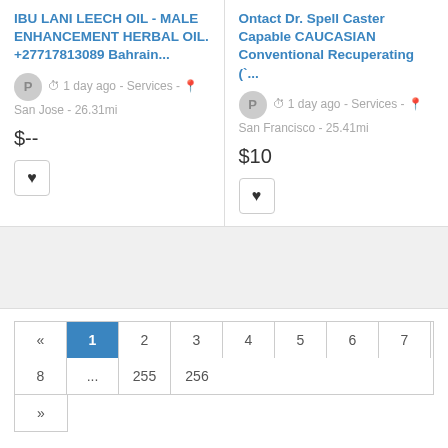IBU LANI LEECH OIL - MALE ENHANCEMENT HERBAL OIL. +27717813089 Bahrain...
P  1 day ago - Services - San Jose - 26.31mi
$--
Ontact Dr. Spell Caster Capable CAUCASIAN Conventional Recuperating (`...
P  1 day ago - Services - San Francisco - 25.41mi
$10
« 1 2 3 4 5 6 7 8 ... 255 256 »
Do have anything to sell or rent?
Sell your products and services online FOR FREE. It's easier than you think !